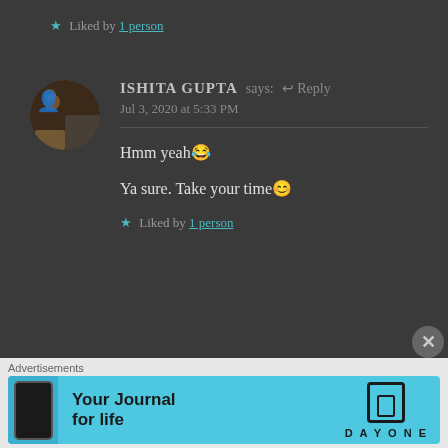★ Liked by 1 person
ISHITA GUPTA says: ↩ Reply
Jul 3, 2020 at 5:33 PM
Hmm yeah😂
Ya sure. Take your time😊
★ Liked by 1 person
[Figure (screenshot): Advertisement banner for Day One journal app with cyan background, phone mockup, and text 'Your Journal for life']